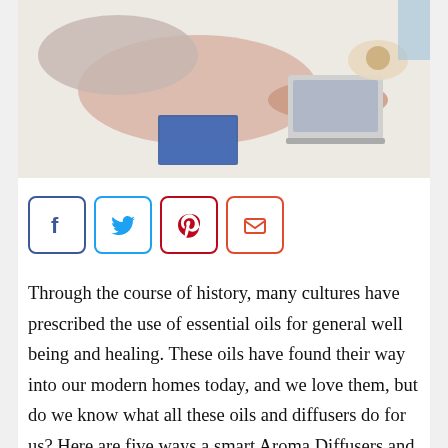[Figure (photo): Person lying on a white carpet working on a laptop, with a notebook and food nearby]
[Figure (infographic): Four social share buttons: Facebook (blue border, f icon), Twitter (light blue border, bird icon), Pinterest (dark red border, p icon), Email (orange-red border, envelope icon)]
Through the course of history, many cultures have prescribed the use of essential oils for general well being and healing. These oils have found their way into our modern homes today, and we love them, but do we know what all these oils and diffusers do for us? Here are five ways a smart Aroma Diffusers and essential oils affect our health